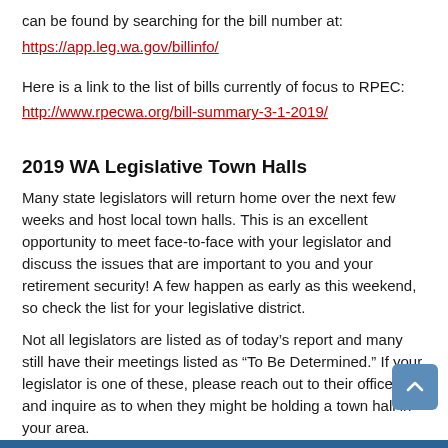can be found by searching for the bill number at:
https://app.leg.wa.gov/billinfo/
Here is a link to the list of bills currently of focus to RPEC:
http://www.rpecwa.org/bill-summary-3-1-2019/
2019 WA Legislative Town Halls
Many state legislators will return home over the next few weeks and host local town halls. This is an excellent opportunity to meet face-to-face with your legislator and discuss the issues that are important to you and your retirement security! A few happen as early as this weekend, so check the list for your legislative district.
Not all legislators are listed as of today’s report and many still have their meetings listed as “To Be Determined.” If your legislator is one of these, please reach out to their offices and inquire as to when they might be holding a town hall in your area.